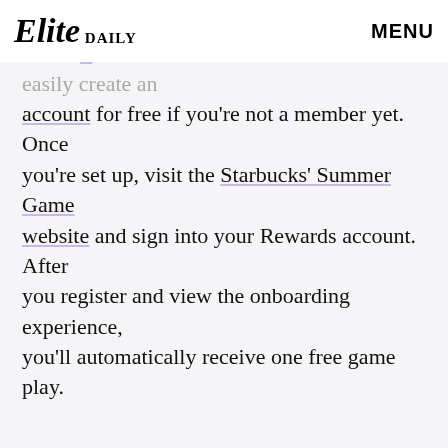Elite Daily  MENU
p.m. PT. Before you can enter, you'll need an active Starbucks Rewards account. You can easily create an account for free if you're not a member yet. Once you're set up, visit the Starbucks' Summer Game website and sign into your Rewards account. After you register and view the onboarding experience, you'll automatically receive one free game play.
ADVERTISEMENT